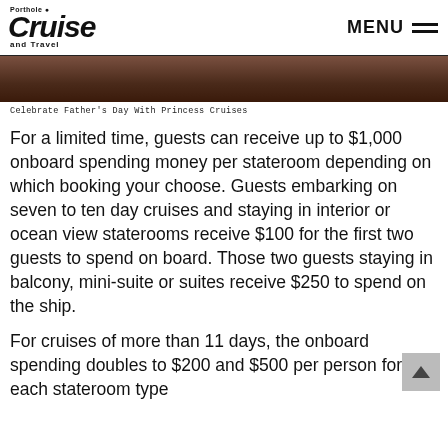Porthole Cruise and Travel — MENU
[Figure (photo): Partial view of a dark-toned image, likely a cruise ship interior or gathering scene]
Celebrate Father's Day With Princess Cruises
For a limited time, guests can receive up to $1,000 onboard spending money per stateroom depending on which booking your choose. Guests embarking on seven to ten day cruises and staying in interior or ocean view staterooms receive $100 for the first two guests to spend on board. Those two guests staying in balcony, mini-suite or suites receive $250 to spend on the ship.
For cruises of more than 11 days, the onboard spending doubles to $200 and $500 per person for each stateroom type